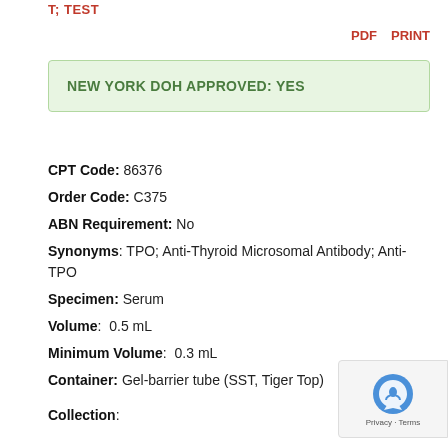T; TEST
PDF    PRINT
NEW YORK DOH APPROVED: YES
CPT Code: 86376
Order Code: C375
ABN Requirement: No
Synonyms: TPO; Anti-Thyroid Microsomal Antibody; Anti-TPO
Specimen: Serum
Volume:  0.5 mL
Minimum Volume:  0.3 mL
Container: Gel-barrier tube (SST, Tiger Top)
Collection: